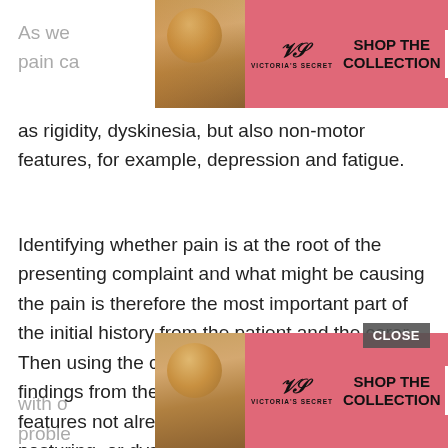[Figure (screenshot): Victoria's Secret advertisement banner at top of page overlapping article text]
As well as ... om, pain ca ... such as rigidity, dyskinesia, but also non-motor features, for example, depression and fatigue.
Identifying whether pain is at the root of the presenting complaint and what might be causing the pain is therefore the most important part of the initial history from the patient and the carer. Then using the clinical examination to confirm findings from the history and identify any features not already elicited such as abnormal posturing, or dystonia.
A recent review into the pathophysiology and treatment of pain in PD suggests simple analgesia with paracetamol and non-steroidal anti-inflammatory drugs but advis...ion with o... proble... er the
[Figure (screenshot): Victoria's Secret advertisement banner at bottom of page overlapping article text, with CLOSE button]